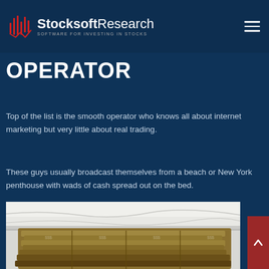StocksoftResearch — SOFTWARE FOR INVESTING IN STOCKS
1. THE SMOOTH OPERATOR
Top of the list is the smooth operator who knows all about internet marketing but very little about real trading.
These guys usually broadcast themselves from a beach or New York penthouse with wads of cash spread out on the bed.
[Figure (photo): Photo of wads of US dollar bills spread out on a white bed]